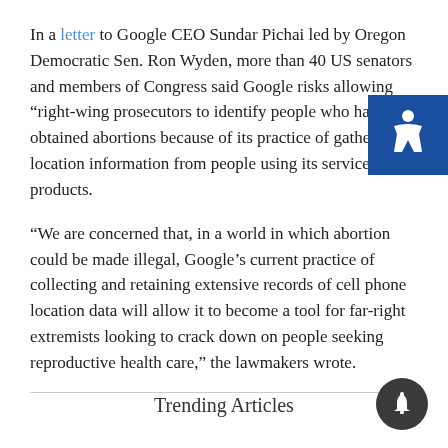In a letter to Google CEO Sundar Pichai led by Oregon Democratic Sen. Ron Wyden, more than 40 US senators and members of Congress said Google risks allowing “right-wing prosecutors to identify people who have obtained abortions because of its practice of gathering location information from people using its services and products.
“We are concerned that, in a world in which abortion could be made illegal, Google’s current practice of collecting and retaining extensive records of cell phone location data will allow it to become a tool for far-right extremists looking to crack down on people seeking reproductive health care,” the lawmakers wrote.
Trending Articles